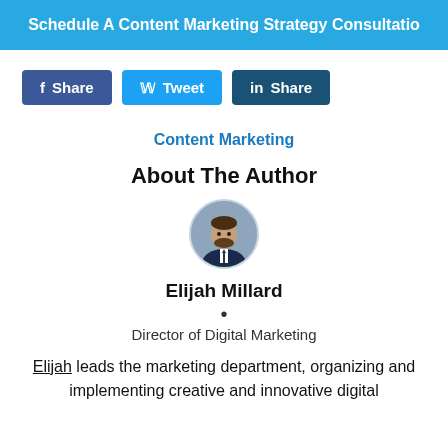Schedule A Content Marketing Strategy Consultation
[Figure (other): Social share buttons: Facebook Share, Twitter Tweet, LinkedIn Share]
Content Marketing
About The Author
[Figure (photo): Circular profile photo of Elijah Millard]
Elijah Millard
Director of Digital Marketing
Elijah leads the marketing department, organizing and implementing creative and innovative digital